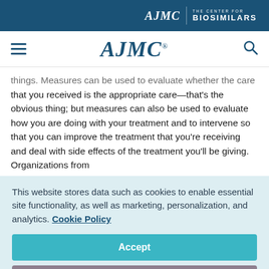AJMC | THE CENTER FOR BIOSIMILARS
[Figure (logo): AJMC navigation bar with hamburger menu icon on left, AJMC logo in center, and search icon on right]
things. Measures can be used to evaluate whether the care that you received is the appropriate care—that's the obvious thing; but measures can also be used to evaluate how you are doing with your treatment and to intervene so that you can improve the treatment that you're receiving and deal with side effects of the treatment you'll be giving. Organizations from
This website stores data such as cookies to enable essential site functionality, as well as marketing, personalization, and analytics. Cookie Policy
Accept
Deny